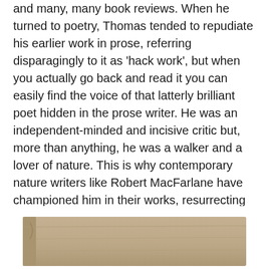and many, many book reviews. When he turned to poetry, Thomas tended to repudiate his earlier work in prose, referring disparagingly to it as 'hack work', but when you actually go back and read it you can easily find the voice of that latterly brilliant poet hidden in the prose writer. He was an independent-minded and incisive critic but, more than anything, he was a walker and a lover of nature. This is why contemporary nature writers like Robert MacFarlane have championed him in their works, resurrecting Thomas as an ecological writer, a pathfinder, a man who speaks eloquently to our contemporary times.
[Figure (photo): Partial view of a worn brown/tan book or envelope, cropped at the bottom of the page.]